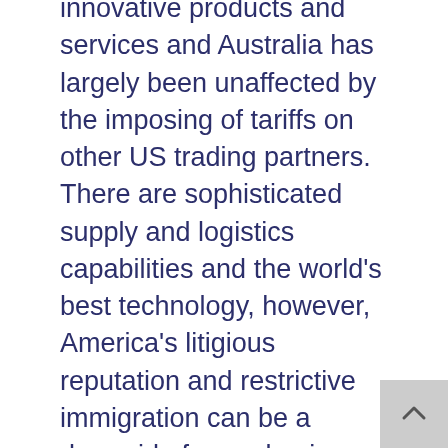innovative products and services and Australia has largely been unaffected by the imposing of tariffs on other US trading partners. There are sophisticated supply and logistics capabilities and the world's best technology, however, America's litigious reputation and restrictive immigration can be a downside from a business perspective. There are complex federal, state, county and city taxes and estate and gift taxes, with those negatives somewhat balanced by a low headline corporate tax rates and the flexibility of check